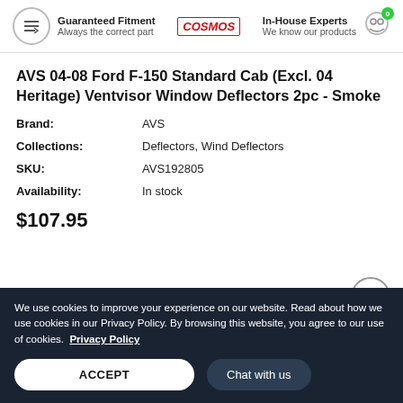Guaranteed Fitment Always the correct part | COSMOS | In-House Experts We know our products
AVS 04-08 Ford F-150 Standard Cab (Excl. 04 Heritage) Ventvisor Window Deflectors 2pc - Smoke
Brand: AVS
Collections: Deflectors, Wind Deflectors
SKU: AVS192805
Availability: In stock
$107.95
We use cookies to improve your experience on our website. Read about how we use cookies in our Privacy Policy. By browsing this website, you agree to our use of cookies. Privacy Policy
ACCEPT
Chat with us